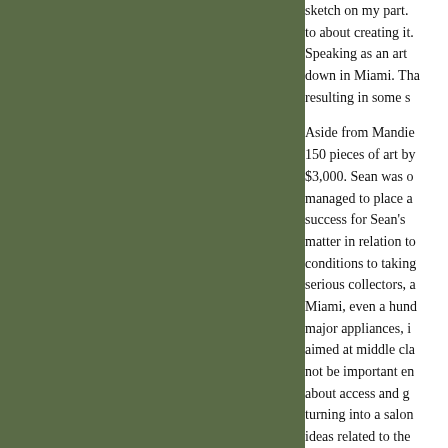[Figure (photo): A large olive/dark green rectangular image occupying the left portion of the page]
sketch on my part. to about creating it. Speaking as an art down in Miami. Tha resulting in some s
Aside from Mandie 150 pieces of art by $3,000. Sean was o managed to place a success for Sean's matter in relation to conditions to taking serious collectors, a Miami, even a hund major appliances, i aimed at middle cla not be important en about access and g turning into a salon ideas related to the lure of 'free stuff' to free art stand. Whi